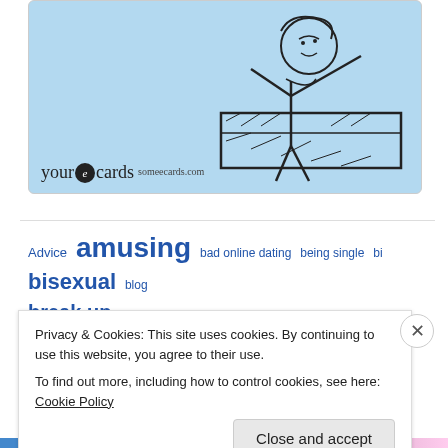[Figure (illustration): A someecards.com 'your ecards' image card with light blue background showing a retro black-and-white illustration of a person lifting a heavy box or furniture, with the 'your e cards someecards.com' logo in the bottom left.]
Advice amusing bad online dating being single bi bisexual blog break up break ups cat lady clingy clingy guy conversation
Privacy & Cookies: This site uses cookies. By continuing to use this website, you agree to their use.
To find out more, including how to control cookies, see here: Cookie Policy
Close and accept